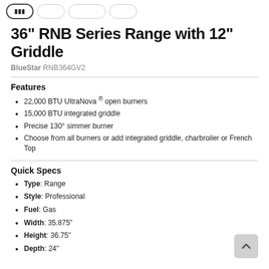navigation tabs
36" RNB Series Range with 12" Griddle
BlueStar RNB364GV2
Features
22,000 BTU UltraNova ® open burners
15,000 BTU integrated griddle
Precise 130° simmer burner
Choose from all burners or add integrated griddle, charbroiler or French Top
Quick Specs
Type: Range
Style: Professional
Fuel: Gas
Width: 35.875"
Height: 36.75"
Depth: 24"